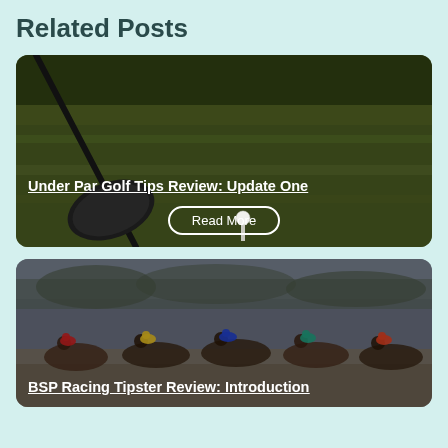Related Posts
[Figure (photo): Golf club driver close-up on a golf course green, with a golf ball on a tee in background]
Under Par Golf Tips Review: Update One
Read More
[Figure (photo): Horse racing scene with multiple jockeys in colorful silks racing on a track]
BSP Racing Tipster Review: Introduction